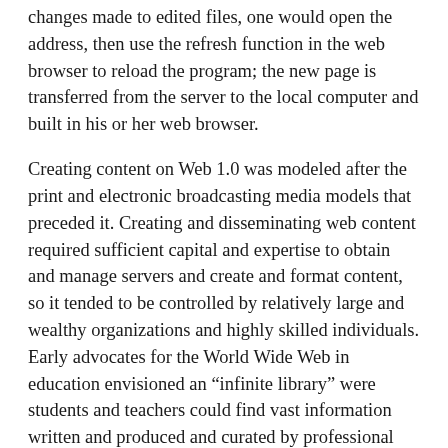changes made to edited files, one would open the address, then use the refresh function in the web browser to reload the program; the new page is transferred from the server to the local computer and built in his or her web browser.
Creating content on Web 1.0 was modeled after the print and electronic broadcasting media models that preceded it. Creating and disseminating web content required sufficient capital and expertise to obtain and manage servers and create and format content, so it tended to be controlled by relatively large and wealthy organizations and highly skilled individuals. Early advocates for the World Wide Web in education envisioned an “infinite library” were students and teachers could find vast information written and produced and curated by professional writers, artists, and editors. What has emerged, of course, is something far different.
By the turn of the century, Web 2.0 tools had emerged and were gaining popularity. These allowed users with more limited expertise and fewer resources to create content and publish to the web. Whereas the first generation of creators of content for the web were largely programmers, the Web 2.0 creators needed only to be able to use a word processor.